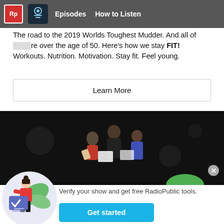RadioPublic logo | Podcast thumbnail | Episodes | How to Listen
The road to the 2019 Worlds Toughest Mudder. And all of are over the age of 50. Here's how we stay FIT! Workouts. Nutrition. Motivation. Stay fit. Feel young.
Learn More
[Figure (illustration): Dark banner with three people figures (illustration) looking at documents, on a dark background]
[Figure (illustration): Illustration of a woman in red top standing next to a large verification card with a checkmark, with green leaves in background]
Hi! Is this your podcast?
Verify your show and get free RadioPublic tools.
Get started